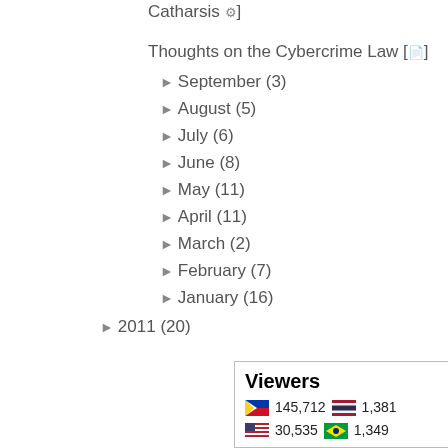Catharsis [icon]
Thoughts on the Cybercrime Law [icon]
► September (3)
► August (5)
► July (6)
► June (8)
► May (11)
► April (11)
► March (2)
► February (7)
► January (16)
► 2011 (20)
[Figure (other): Viewers widget showing country flags and viewer counts: 145,712 (Philippines), 1,381 (Thailand), ~30,535 (partial, cut off), 1,349 (Brazil, partial)]